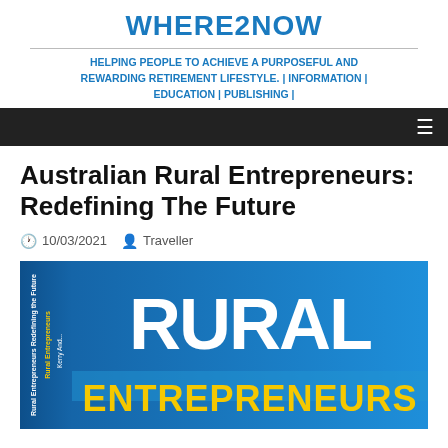WHERE2NOW
HELPING PEOPLE TO ACHIEVE A PURPOSEFUL AND REWARDING RETIREMENT LIFESTYLE. | INFORMATION | EDUCATION | PUBLISHING |
Australian Rural Entrepreneurs: Redefining The Future
10/03/2021  Traveller
[Figure (photo): Book cover for Rural Entrepreneurs featuring bold white text 'RURAL' and yellow text 'ENTREPRENEURS' on a blue background, with spine text visible on the left side]